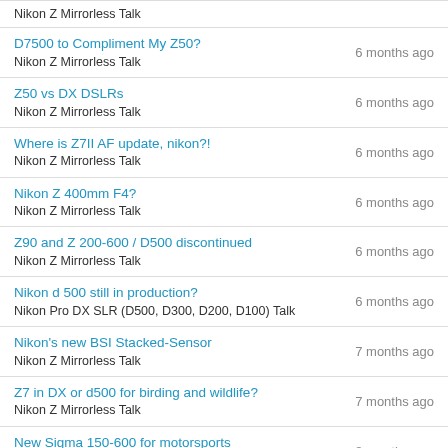Nikon Z Mirrorless Talk | (partial, top cut off)
D7500 to Compliment My Z50? | Nikon Z Mirrorless Talk | 6 months ago
Z50 vs DX DSLRs | Nikon Z Mirrorless Talk | 6 months ago
Where is Z7II AF update, nikon?! | Nikon Z Mirrorless Talk | 6 months ago
Nikon Z 400mm F4? | Nikon Z Mirrorless Talk | 6 months ago
Z90 and Z 200-600 / D500 discontinued | Nikon Z Mirrorless Talk | 6 months ago
Nikon d 500 still in production? | Nikon Pro DX SLR (D500, D300, D200, D100) Talk | 6 months ago
Nikon's new BSI Stacked-Sensor | Nikon Z Mirrorless Talk | 7 months ago
Z7 in DX or d500 for birding and wildlife? | Nikon Z Mirrorless Talk | 7 months ago
New Sigma 150-600 for motorsports | Sports and Action Photography | 8 months ago